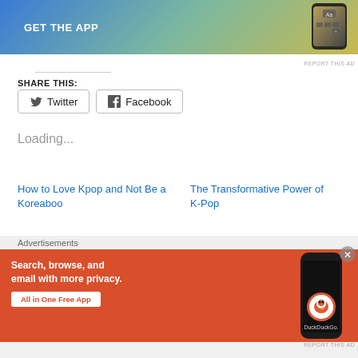[Figure (screenshot): App advertisement banner with gradient blue-green-yellow background, phone mockup on right, and 'GET THE APP' white bold text on left]
REPORT THIS AD
SHARE THIS:
Twitter
Facebook
Loading...
How to Love Kpop and Not Be a Koreaboo
The Transformative Power of K-Pop
Advertisements
[Figure (screenshot): DuckDuckGo advertisement with orange background, white bold text 'Search, browse, and email with more privacy. All in One Free App', phone mockup with DuckDuckGo logo on right]